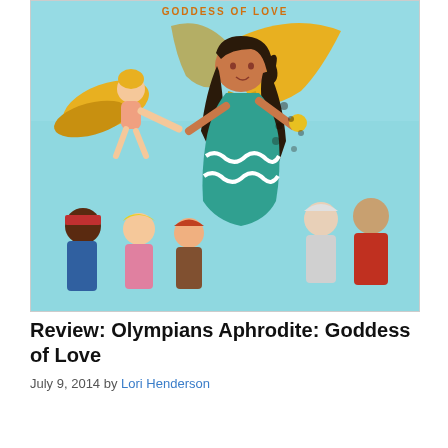[Figure (illustration): Book cover illustration for 'Olympians Aphrodite: Goddess of Love'. A light blue background with a central female figure (Aphrodite) in a teal/green flowing dress with long dark curly hair. To her left is a winged golden-haired fairy/cherub figure (Eros). Below are several smaller figures including diverse characters in various poses. The top of the cover shows partial orange text reading 'GODDESS OF LOVE'.]
Review: Olympians Aphrodite: Goddess of Love
July 9, 2014 by Lori Henderson